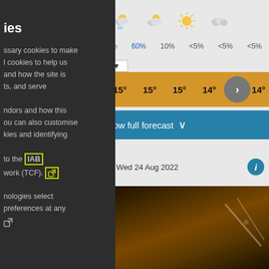ies
ssary cookies to make
l cookies to help us
and how the site is
ts, and serve
ndors and how this
ou can also customise
kies and identifying
to the IAB
work (TCF). [external link icon]
nologies select
preferences at any
[external link icon]
[Figure (screenshot): Weather forecast widget showing weather icons, precipitation percentages (60%, 10%, <5%, <5%, <5%), temperatures (15°, 15°, 15°, 14°, 14°) in an orange row, a 'show full forecast' button, date Wed 24 Aug 2022, info button, and a dark nature photo at the bottom]